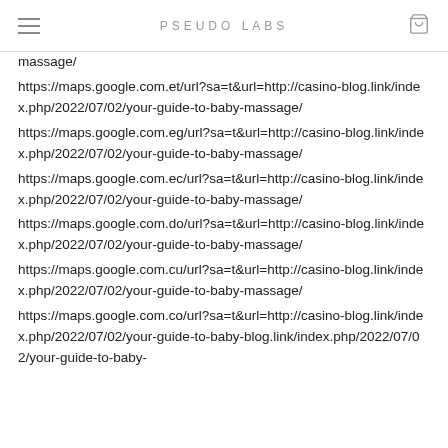PSEUDO LABS
massage/
https://maps.google.com.et/url?sa=t&url=http://casino-blog.link/index.php/2022/07/02/your-guide-to-baby-massage/
https://maps.google.com.eg/url?sa=t&url=http://casino-blog.link/index.php/2022/07/02/your-guide-to-baby-massage/
https://maps.google.com.ec/url?sa=t&url=http://casino-blog.link/index.php/2022/07/02/your-guide-to-baby-massage/
https://maps.google.com.do/url?sa=t&url=http://casino-blog.link/index.php/2022/07/02/your-guide-to-baby-massage/
https://maps.google.com.cu/url?sa=t&url=http://casino-blog.link/index.php/2022/07/02/your-guide-to-baby-massage/
https://maps.google.com.co/url?sa=t&url=http://casino-blog.link/index.php/2022/07/02/your-guide-to-baby-